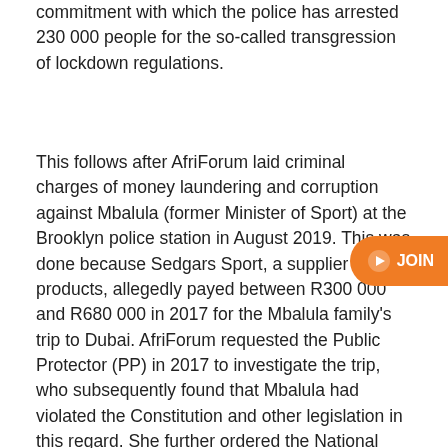commitment with which the police has arrested 230 000 people for the so-called transgression of lockdown regulations.
This follows after AfriForum laid criminal charges of money laundering and corruption against Mbalula (former Minister of Sport) at the Brooklyn police station in August 2019. This was done because Sedgars Sport, a supplier of sport products, allegedly payed between R300 000 and R680 000 in 2017 for the Mbalula family's trip to Dubai. AfriForum requested the Public Protector (PP) in 2017 to investigate the trip, who subsequently found that Mbalula had violated the Constitution and other legislation in this regard. She further ordered the National Prosecuting Authority (NPA) to launch an investigation into whether the funds used to